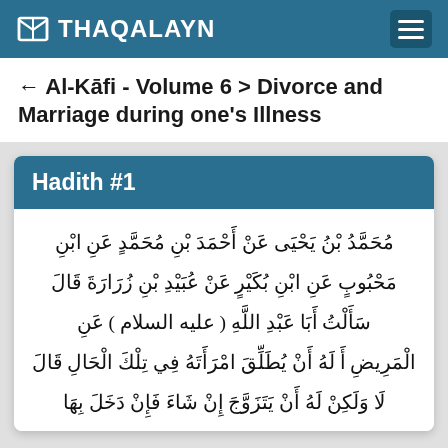THAQALAYN
Al-Kāfi - Volume 6 > Divorce and Marriage during one's Illness
Hadith #1
مُحَمَّدُ بْنُ يَحْيَى عَنْ أَحْمَدَ بْنِ مُحَمَّدٍ عَنِ ابْنِ مَحْبُوبٍ عَنِ ابْنِ بُكَيْرٍ عَنْ عُبَيْدِ بْنِ زُرَارَةَ قَالَ سَأَلْتُ أَبَا عَبْدِ اللَّهِ ( عليه السلام ) عَنِ الْمَرِيضِ أَ لَهُ أَنْ يُطَلِّقَ امْرَأَتَهُ فِي تِلْكَ الْحَالِ قَالَ لَا وَلَكِنْ لَهُ أَنْ يَتَزَوَّجَ إِنْ شَاءَ فَإِنْ دَخَلَ بِهَا